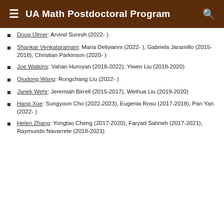UA Math Postdoctoral Program
Doug Ulmer: Arvind Suresh (2022- )
Shankar Venkataramani: Maria Deliyianni (2022- ), Gabriela Jaramillo (2015-2018), Christian Parkinson (2020- )
Joe Watkins: Vahan Huroyan (2018-2022), Yiwen Liu (2018-2020)
Qiudong Wang: Rongchang Liu (2022- )
Janek Wehr: Jeremiah Birrell (2015-2017), Weihua Liu (2019-2020)
Hang Xue: Sungyoon Cho (2022-2023), Eugenia Rosu (2017-2018), Pan Yan (2022- )
Helen Zhang: Yongtao Cheng (2017-2020), Faryad Sahneh (2017-2021), Raymundo Navarrete (2018-2021)